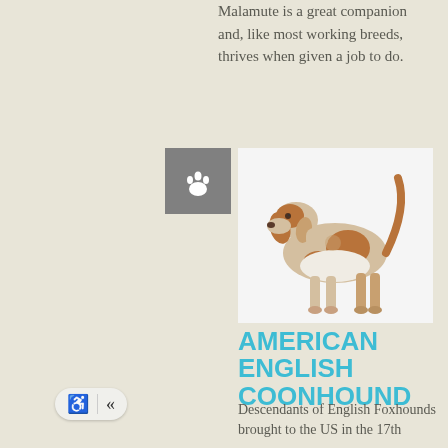Malamute is a great companion and, like most working breeds, thrives when given a job to do.
[Figure (illustration): Gray square icon with a white paw print symbol]
[Figure (photo): American English Coonhound dog standing in profile, white and brown spotted coat, tail raised]
AMERICAN ENGLISH COONHOUND
Descendants of English Foxhounds brought to the US in the 17th
[Figure (infographic): Navigation buttons showing wheelchair accessibility icon and double left arrow icon]